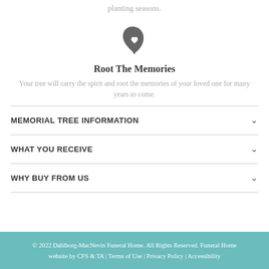planting seasons.
[Figure (illustration): Leaf with heart icon, dark grey, centered]
Root The Memories
Your tree will carry the spirit and root the memories of your loved one for many years to come.
MEMORIAL TREE INFORMATION
WHAT YOU RECEIVE
WHY BUY FROM US
© 2022 Dahlborg-MacNevin Funeral Home. All Rights Reserved. Funeral Home website by CFS & TA | Terms of Use | Privacy Policy | Accessibility